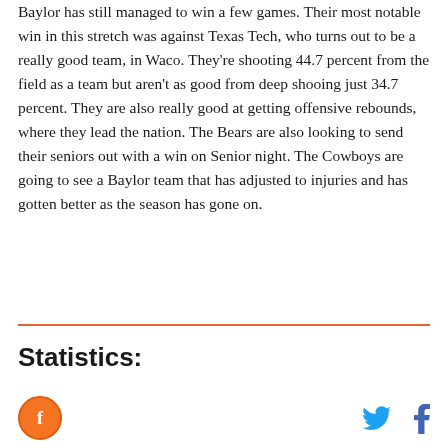Baylor has still managed to win a few games. Their most notable win in this stretch was against Texas Tech, who turns out to be a really good team, in Waco. They're shooting 44.7 percent from the field as a team but aren't as good from deep shooing just 34.7 percent. They are also really good at getting offensive rebounds, where they lead the nation. The Bears are also looking to send their seniors out with a win on Senior night. The Cowboys are going to see a Baylor team that has adjusted to injuries and has gotten better as the season has gone on.
Statistics: